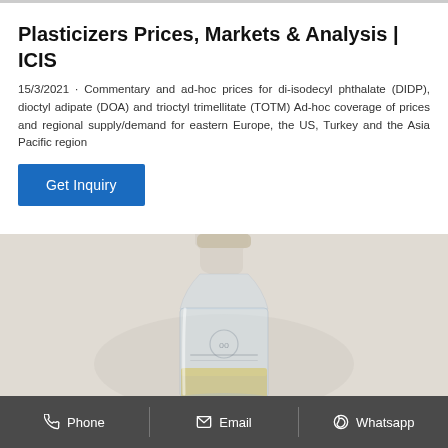Plasticizers Prices, Markets & Analysis | ICIS
15/3/2021 · Commentary and ad-hoc prices for di-isodecyl phthalate (DIDP), dioctyl adipate (DOA) and trioctyl trimellitate (TOTM) Ad-hoc coverage of prices and regional supply/demand for eastern Europe, the US, Turkey and the Asia Pacific region
[Figure (other): Blue 'Get Inquiry' button]
[Figure (photo): A clear glass bottle or flask with a yellowish liquid at the bottom, shown against a light grey background]
Phone   Email   Whatsapp